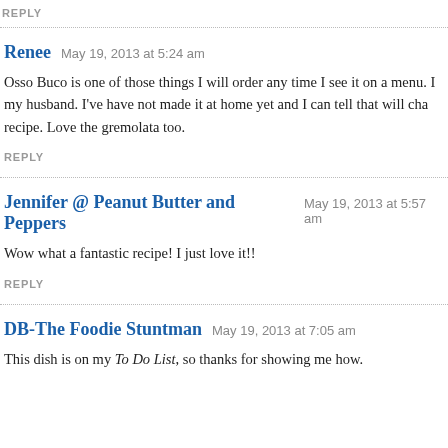REPLY
Renee   May 19, 2013 at 5:24 am
Osso Buco is one of those things I will order any time I see it on a menu. I my husband. I've have not made it at home yet and I can tell that will char recipe. Love the gremolata too.
REPLY
Jennifer @ Peanut Butter and Peppers   May 19, 2013 at 5:57 am
Wow what a fantastic recipe! I just love it!!
REPLY
DB-The Foodie Stuntman   May 19, 2013 at 7:05 am
This dish is on my To Do List, so thanks for showing me how.